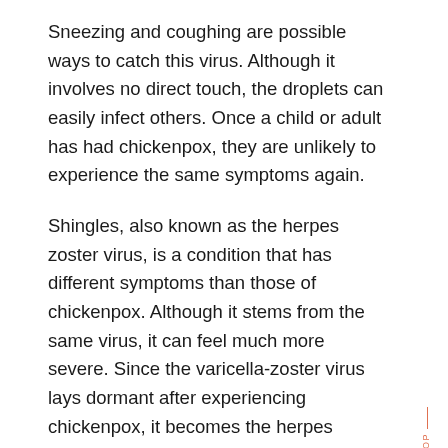Sneezing and coughing are possible ways to catch this virus. Although it involves no direct touch, the droplets can easily infect others. Once a child or adult has had chickenpox, they are unlikely to experience the same symptoms again.
Shingles, also known as the herpes zoster virus, is a condition that has different symptoms than those of chickenpox. Although it stems from the same virus, it can feel much more severe. Since the varicella-zoster virus lays dormant after experiencing chickenpox, it becomes the herpes zoster virus when the virus is activated again.
Herpes viruses all have a similar structure. While